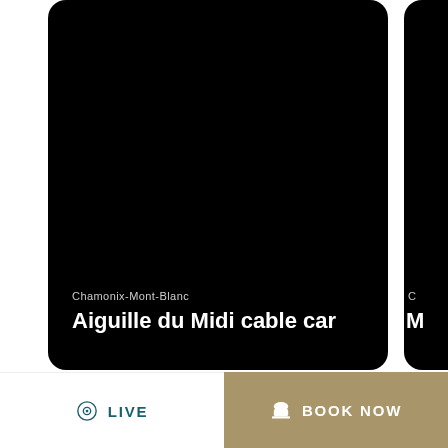[Figure (screenshot): Black card with location label 'Chamonix-Mont-Blanc' and title 'Aiguille du Midi cable car' on dark background. Partial second black card visible on right edge.]
Chamonix-Mont-Blanc
Aiguille du Midi cable car
Agenda: The Gourmet Hike
LIVE
BOOK NOW